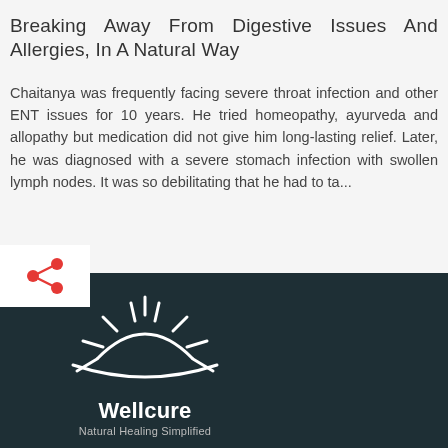Breaking Away From Digestive Issues And Allergies, In A Natural Way
Chaitanya was frequently facing severe throat infection and other ENT issues for 10 years. He tried homeopathy, ayurveda and allopathy but medication did not give him long-lasting relief. Later, he was diagnosed with a severe stomach infection with swollen lymph nodes. It was so debilitating that he had to ta...
[Figure (logo): Wellcure logo — white sun/rays icon above text 'Wellcure' and tagline 'Natural Healing Simplified' on dark teal background. Share icon (red) in white box overlay.]